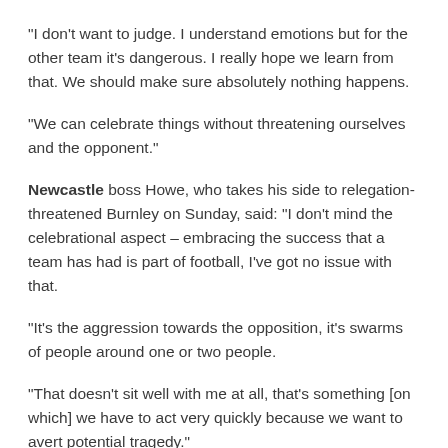"I don't want to judge. I understand emotions but for the other team it's dangerous. I really hope we learn from that. We should make sure absolutely nothing happens.
"We can celebrate things without threatening ourselves and the opponent."
Newcastle boss Howe, who takes his side to relegation-threatened Burnley on Sunday, said: "I don't mind the celebrational aspect – embracing the success that a team has had is part of football, I've got no issue with that.
"It's the aggression towards the opposition, it's swarms of people around one or two people.
"That doesn't sit well with me at all, that's something [on which] we have to act very quickly because we want to avert potential tragedy."